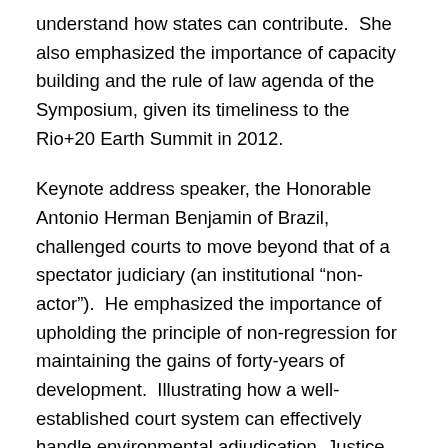understand how states can contribute.  She also emphasized the importance of capacity building and the rule of law agenda of the Symposium, given its timeliness to the Rio+20 Earth Summit in 2012.
Keynote address speaker, the Honorable Antonio Herman Benjamin of Brazil, challenged courts to move beyond that of a spectator judiciary (an institutional “non-actor”).  He emphasized the importance of upholding the principle of non-regression for maintaining the gains of forty-years of development.  Illustrating how a well-established court system can effectively handle environmental adjudication, Justice Brian J. Preston described the Land and Environment Court of New South Wales, Australia, where he presides.  In contrast, the Honorable Donald Kaniaru of